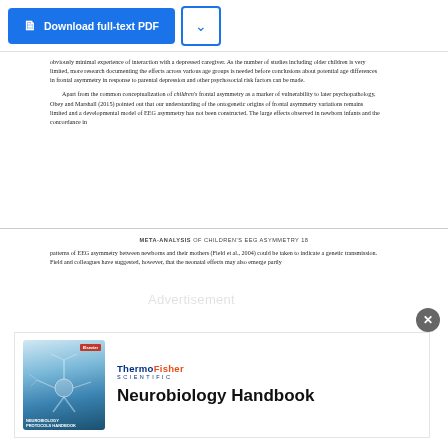[Figure (screenshot): Download full-text PDF button (blue) and chevron/dropdown button (white with blue border)]
obviously minimal experience of interaction with a depressed caregiver. As the number of studies including older children is very limited, more research documenting the effects across various age groups is needed before conclusions about potential age differences in frontal asymmetry in response to parental depression and other psychosocial risk factors can be made.
Apart from the common conceptualization of children's frontal asymmetry as a marker of vulnerability to later psychopathology, Obey and Marshall (2015) pointed out that our understanding of the ontogenetic origins of frontal asymmetry variations remains limited and a developmental model of EEG asymmetry has not been constructed. The large effects observed in newborn infants and the concordance in
META-ANALYSIS OF CHILDREN'S EEG ASYMMETRY 18
patterns of EEG asymmetry between newborns and their mothers (Field et al., 2004) could be taken to indicate a genetic transmission. Field and colleagues have suggested, however, that the neonatal effects may also emerge partly...
[Figure (photo): Advertisement: Thermo Fisher Scientific Neurobiology Handbook. Shows book cover with neuron image on blue background and Thermo Fisher Scientific logo, with title 'Neurobiology Handbook'.]